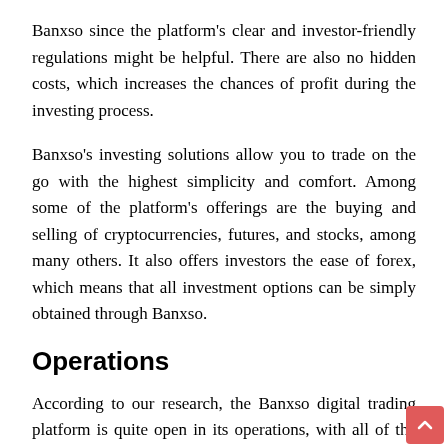Banxso since the platform's clear and investor-friendly regulations might be helpful. There are also no hidden costs, which increases the chances of profit during the investing process.
Banxso's investing solutions allow you to trade on the go with the highest simplicity and comfort. Among some of the platform's offerings are the buying and selling of cryptocurrencies, futures, and stocks, among many others. It also offers investors the ease of forex, which means that all investment options can be simply obtained through Banxso.
Operations
According to our research, the Banxso digital trading platform is quite open in its operations, with all of the expenses disclosed on the website. Traders can purchase or sell assets on trading platforms, and all necessary charges for various services are published.